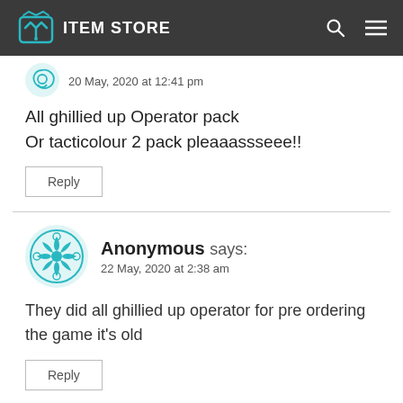ITEM STORE
20 May, 2020 at 12:41 pm
All ghillied up Operator pack
Or tacticolour 2 pack pleaaassseee!!
Reply
Anonymous says:
22 May, 2020 at 2:38 am
They did all ghillied up operator for pre ordering the game it's old
Reply